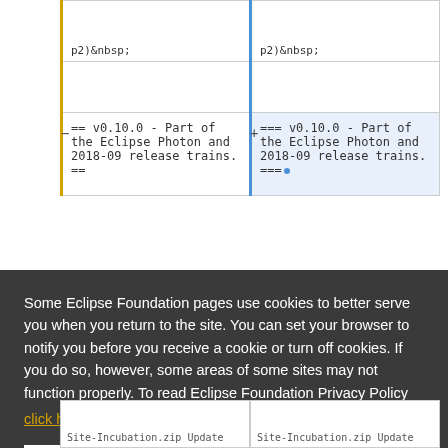p2)&nbsp;
p2)&nbsp;
== v0.10.0 - Part of the Eclipse Photon and 2018-09 release trains. ==
=== v0.10.0 - Part of the Eclipse Photon and 2018-09 release trains. ===
Some Eclipse Foundation pages use cookies to better serve you when you return to the site. You can set your browser to notify you before you receive a cookie or turn off cookies. If you do so, however, some areas of some sites may not function properly. To read Eclipse Foundation Privacy Policy click here.
Decline
Allow cookies
Site-Incubation.zip Update
Site-Incubation.zip Update